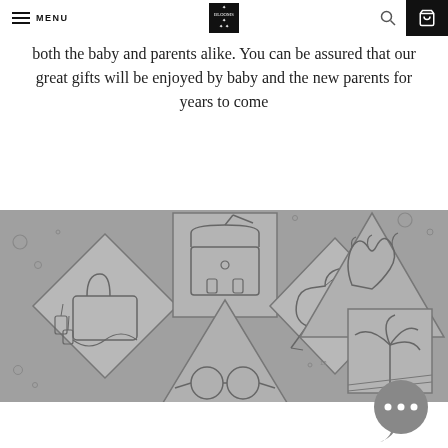MENU | [Blooms logo] | [search icon] | [cart icon]
both the baby and parents alike. You can be assured that our great gifts will be enjoyed by baby and the new parents for years to come
[Figure (illustration): Grey banner with line-art illustrations of lifestyle items in geometric shapes: a handbag in a diamond, a satchel/briefcase in a square, glasses in a triangle, a high-heel shoe in a diamond, a hand/claw in a triangle, and a palm/plant in a square. Scattered circles and diamond bubble elements on grey background.]
[Figure (other): Chat bubble icon with three dots (...) in dark grey circle with speech bubble tail]